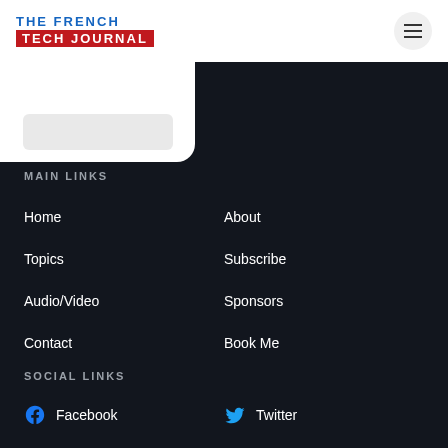THE FRENCH TECH JOURNAL
MAIN LINKS
Home
About
Topics
Subscribe
Audio/Video
Sponsors
Contact
Book Me
SOCIAL LINKS
Facebook
Twitter